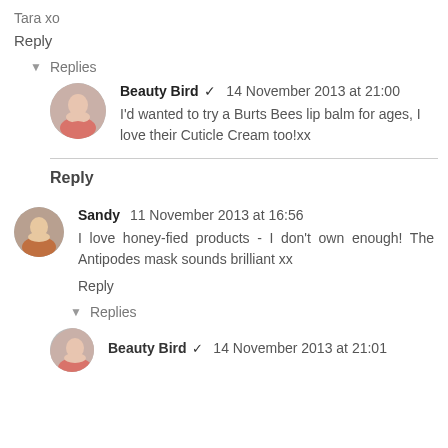Tara xo
Reply
▾ Replies
Beauty Bird ✔ 14 November 2013 at 21:00
I'd wanted to try a Burts Bees lip balm for ages, I love their Cuticle Cream too!xx
Reply
Sandy 11 November 2013 at 16:56
I love honey-fied products - I don't own enough! The Antipodes mask sounds brilliant xx
Reply
▾ Replies
Beauty Bird ✔ 14 November 2013 at 21:01